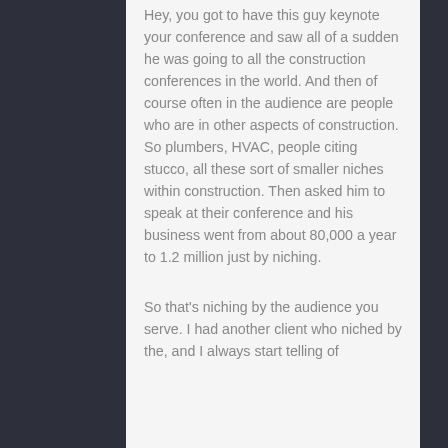Hey, you got to have this guy keynote your conference and saw all of a sudden he was going to all the construction conferences in the world. And then of course often in the audience are people who are in other aspects of construction. So plumbers, HVAC, people citing stucco, all these sort of smaller niches within construction. Then asked him to speak at their conference and his business went from about 80,000 a year to 1.2 million just by niching.
So that's niching by the audience you serve. I had another client who niched by the, and I always start telling of...